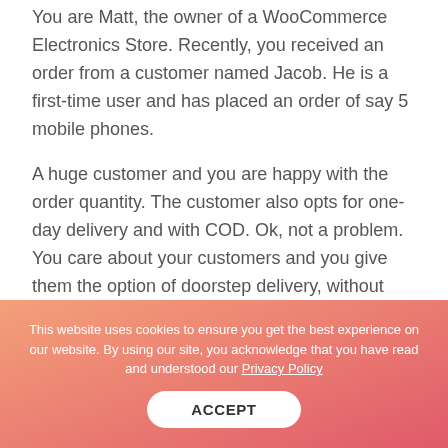You are Matt, the owner of a WooCommerce Electronics Store. Recently, you received an order from a customer named Jacob. He is a first-time user and has placed an order of say 5 mobile phones.
A huge customer and you are happy with the order quantity. The customer also opts for one-day delivery and with COD. Ok, not a problem. You care about your customers and you give them the option of doorstep delivery, without asking for money in advance.
This website uses cookies to ensure you get the best experience on our website. By using our site, you acknowledge that you have read and understood our Privacy Policy
ACCEPT